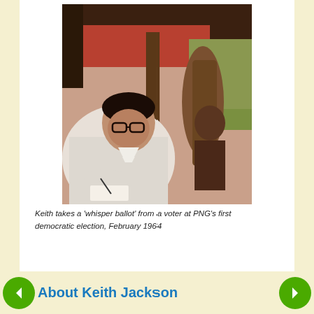[Figure (photo): Black and white/color vintage photograph of a young man with glasses and a white shirt, taking a 'whisper ballot' from a voter at PNG's first democratic election, February 1964. The scene is outdoors under a thatched/wooden shelter.]
Keith takes a 'whisper ballot' from a voter at PNG's first democratic election, February 1964
About Keith Jackson